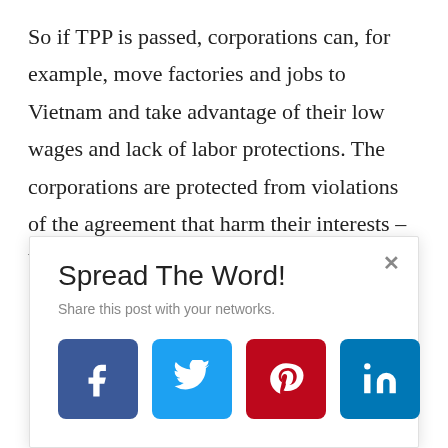So if TPP is passed, corporations can, for example, move factories and jobs to Vietnam and take advantage of their low wages and lack of labor protections. The corporations are protected from violations of the agreement that harm their interests – but labor violations
[Figure (infographic): Popup modal overlay with title 'Spread The Word!', subtitle 'Share this post with your networks.', close button (×), and four social media share buttons: Facebook (dark blue, f icon), Twitter (light blue, bird icon), Pinterest (red, P icon), LinkedIn (blue, in icon).]